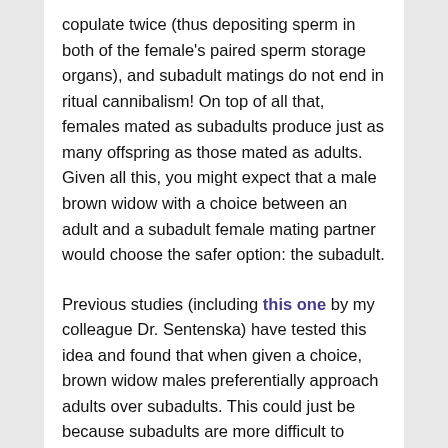copulate twice (thus depositing sperm in both of the female's paired sperm storage organs), and subadult matings do not end in ritual cannibalism! On top of all that, females mated as subadults produce just as many offspring as those mated as adults. Given all this, you might expect that a male brown widow with a choice between an adult and a subadult female mating partner would choose the safer option: the subadult.
Previous studies (including this one by my colleague Dr. Sentenska) have tested this idea and found that when given a choice, brown widow males preferentially approach adults over subadults. This could just be because subadults are more difficult to detect from a distance; once they mature, adult female widow spiders produce a silk-bound sex pheromone that advertises their location and receptivity to males, and as far as we know, subadults do not produce such airborne signals. In this study, we wanted to see if males would make the same choices based on direct contact with silk (which may contain chemical information that allows males to